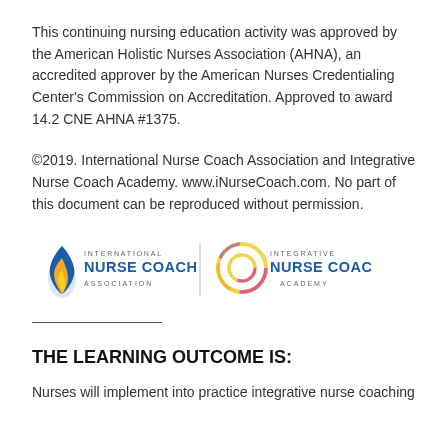This continuing nursing education activity was approved by the American Holistic Nurses Association (AHNA), an accredited approver by the American Nurses Credentialing Center's Commission on Accreditation. Approved to award 14.2 CNE AHNA #1375.
©2019. International Nurse Coach Association and Integrative Nurse Coach Academy. www.iNurseCoach.com. No part of this document can be reproduced without permission.
[Figure (logo): International Nurse Coach Association logo (flame icon in blue/orange/yellow with text 'INTERNATIONAL NURSE COACH ASSOCIATION') and Integrative Nurse Coach Academy logo (circular multicolor ring with text 'INTEGRATIVE NURSE COACH ACADEMY'), separated by a vertical dividing line.]
THE LEARNING OUTCOME IS:
Nurses will implement into practice integrative nurse coaching